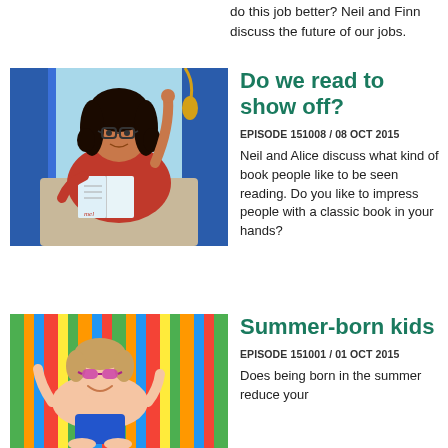do this job better? Neil and Finn discuss the future of our jobs.
Do we read to show off?
EPISODE 151008 / 08 OCT 2015
Neil and Alice discuss what kind of book people like to be seen reading. Do you like to impress people with a classic book in your hands?
[Figure (illustration): Illustrated woman with curly dark hair and glasses reading a book on a bus or train, wearing a red top, with blue panels in background]
Summer-born kids
EPISODE 151001 / 01 OCT 2015
Does being born in the summer reduce your
[Figure (photo): Child with sunglasses lying on colorful striped towel, smiling]